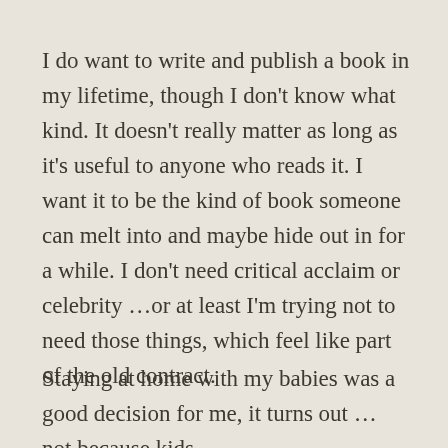I do want to write and publish a book in my lifetime, though I don't know what kind. It doesn't really matter as long as it's useful to anyone who reads it. I want it to be the kind of book someone can melt into and maybe hide out in for a while. I don't need critical acclaim or celebrity …or at least I'm trying not to need those things, which feel like part of the old contract.
Staying at home with my babies was a good decision for me, it turns out … not because kids